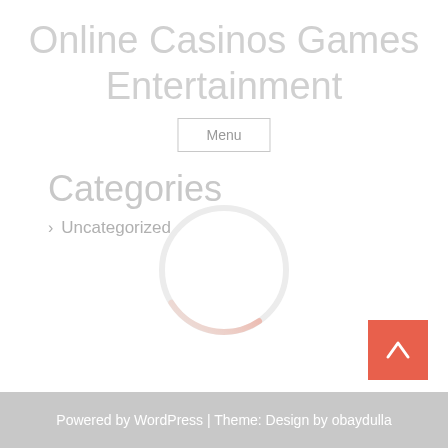Online Casinos Games Entertainment
Menu
Categories
> Uncategorized
[Figure (other): Circular loading spinner with red/orange arc on top-right against light gray circle]
[Figure (other): Back to top button: orange/red square with white upward arrow]
Powered by WordPress | Theme: Design by obaydulla